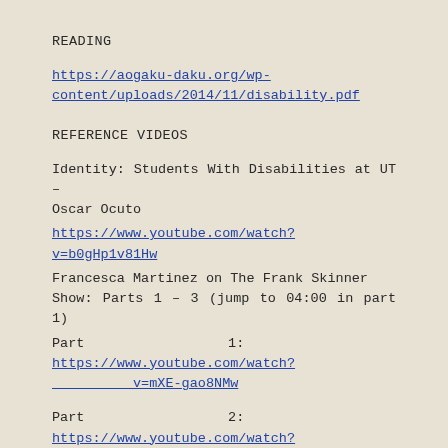READING
https://aogaku-daku.org/wp-content/uploads/2014/11/disability.pdf
REFERENCE VIDEOS
Identity: Students With Disabilities at UT – Oscar Ocuto
https://www.youtube.com/watch?v=b0gHp1v81Hw
Francesca Martinez on The Frank Skinner Show: Parts 1 – 3 (jump to 04:00 in part 1)
Part 1:    https://www.youtube.com/watch?v=mXE-gao8NMw
Part 2:    https://www.youtube.com/watch?v=FQQ3sM85oYY
Part 3:    https://www.youtube.com/watch?v=yDb22F9jldo&feature=related